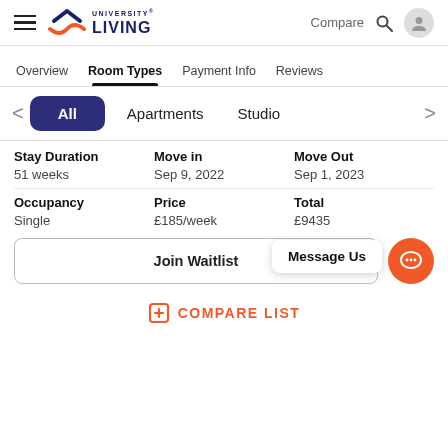University Living — Compare, Search, User Account
Overview | Room Types | Payment Info | Reviews
All | Apartments | Studio
| Stay Duration | Move in | Move Out |
| --- | --- | --- |
| 51 weeks | Sep 9, 2022 | Sep 1, 2023 |
| Occupancy | Price | Total |
| Single | £185/week | £9435 |
Message Us
Join Waitlist
COMPARE LIST